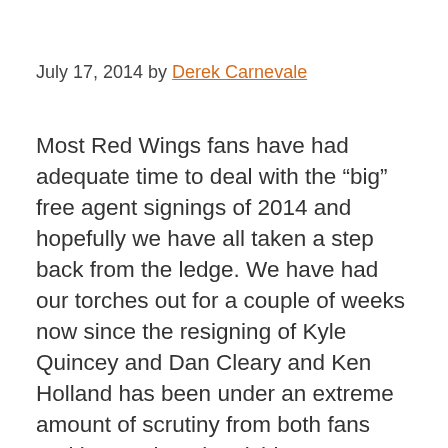July 17, 2014 by Derek Carnevale
Most Red Wings fans have had adequate time to deal with the “big” free agent signings of 2014 and hopefully we have all taken a step back from the ledge. We have had our torches out for a couple of weeks now since the resigning of Kyle Quincey and Dan Cleary and Ken Holland has been under an extreme amount of scrutiny from both fans and beat writers in Michigan. Everyone has started to dig and look at all of Ken Holland’s